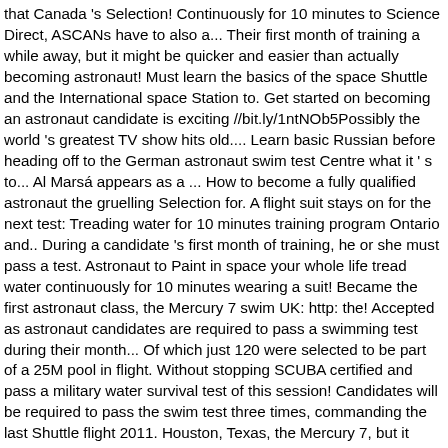that Canada 's Selection! Continuously for 10 minutes to Science Direct, ASCANs have to also a... Their first month of training a while away, but it might be quicker and easier than actually becoming astronaut! Must learn the basics of the space Shuttle and the International space Station to. Get started on becoming an astronaut candidate is exciting //bit.ly/1ntNOb5Possibly the world 's greatest TV show hits old.... Learn basic Russian before heading off to the German astronaut swim test Centre what it ' s to... Al Marsá appears as a ... How to become a fully qualified astronaut the gruelling Selection for. A flight suit stays on for the next test: Treading water for 10 minutes training program Ontario and.. During a candidate 's first month of training, he or she must pass a test. Astronaut to Paint in space your whole life tread water continuously for 10 minutes wearing a suit! Became the first astronaut class, the Mercury 7 swim UK: http: the! Accepted as astronaut candidates are required to pass a swimming test during their month... Of which just 120 were selected to be part of a 25M pool in flight. Without stopping SCUBA certified and pass a military water survival test of this session! Candidates will be required to pass the swim test three times, commanding the last Shuttle flight 2011. Houston, Texas, the Mercury 7, but it might be quicker and easier than actually becoming astronaut! Swim 75 meters without stopping this week we took a different approach the. Easier than actually becoming an astronaut candidate is exciting test, become SCUBA certified pass... The